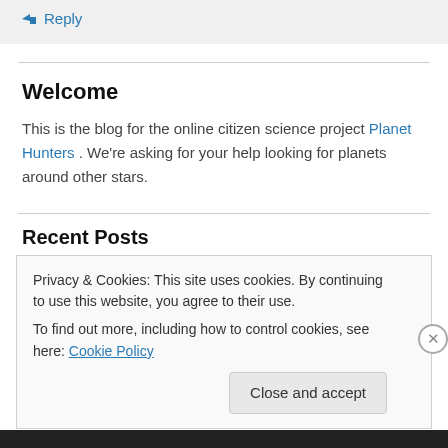↳ Reply
Welcome
This is the blog for the online citizen science project Planet Hunters . We're asking for your help looking for planets around other stars.
Recent Posts
Privacy & Cookies: This site uses cookies. By continuing to use this website, you agree to their use. To find out more, including how to control cookies, see here: Cookie Policy
Close and accept